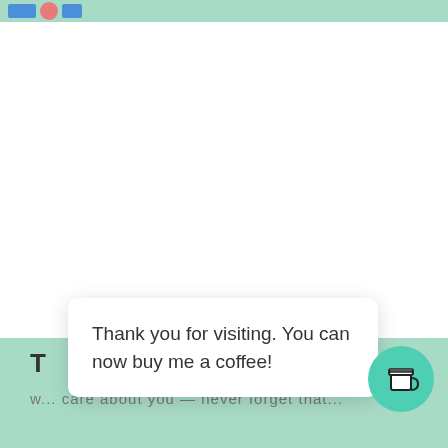[Figure (screenshot): Top banner with green background containing blue rectangular icon, pink/red circle icon, and blue rectangular icon]
Thank you for visiting. You can now buy me a coffee!
[Figure (illustration): Teal circular button with a coffee cup icon (buy me a coffee widget)]
T pe
w... care about you — never forget that...